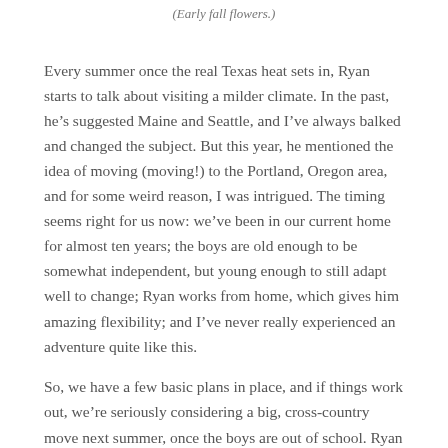(Early fall flowers.)
Every summer once the real Texas heat sets in, Ryan starts to talk about visiting a milder climate. In the past, he’s suggested Maine and Seattle, and I’ve always balked and changed the subject. But this year, he mentioned the idea of moving (moving!) to the Portland, Oregon area, and for some weird reason, I was intrigued. The timing seems right for us now: we’ve been in our current home for almost ten years; the boys are old enough to be somewhat independent, but young enough to still adapt well to change; Ryan works from home, which gives him amazing flexibility; and I’ve never really experienced an adventure quite like this.
So, we have a few basic plans in place, and if things work out, we’re seriously considering a big, cross-country move next summer, once the boys are out of school. Ryan contacted a realtor in the Portland area and is meeting with him next week, then the week after